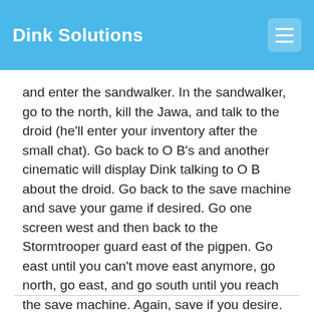Dink Solutions
and enter the sandwalker. In the sandwalker, go to the north, kill the Jawa, and talk to the droid (he'll enter your inventory after the small chat). Go back to O B's and another cinematic will display Dink talking to O B about the droid. Go back to the save machine and save your game if desired. Go one screen west and then back to the Stormtrooper guard east of the pigpen. Go east until you can't move east anymore, go north, go east, and go south until you reach the save machine. Again, save if you desire. Go east until you reach the building, enter the building. Once the cinematic is over, just attack ships until the 60-second time limit is over.
You've finished the d-mod!